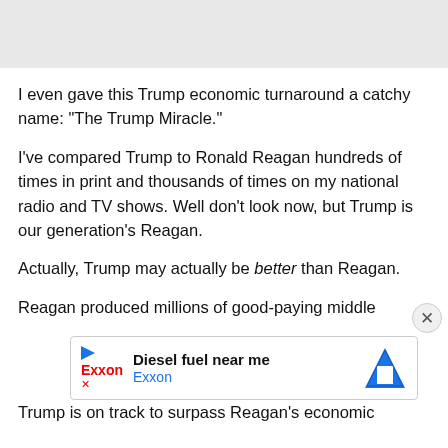[Figure (other): Gray banner area at top of page]
I even gave this Trump economic turnaround a catchy name: "The Trump Miracle."
I've compared Trump to Ronald Reagan hundreds of times in print and thousands of times on my national radio and TV shows. Well don't look now, but Trump is our generation's Reagan.
Actually, Trump may actually be better than Reagan.
Reagan produced millions of good-paying middle
[Figure (other): Advertisement banner for Exxon - Diesel fuel near me]
Trump is on track to surpass Reagan's economic